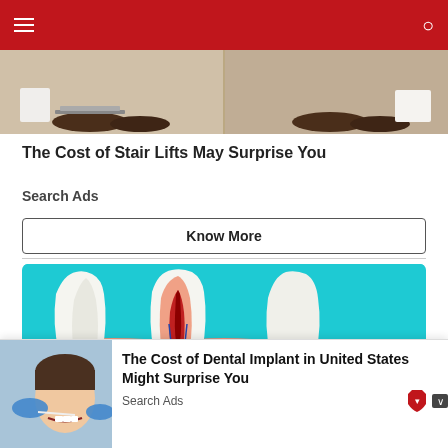[Figure (photo): Photo showing feet and shoes near stairs or floor]
The Cost of Stair Lifts May Surprise You
Search Ads
Know More
[Figure (illustration): Medical illustration of teeth cross-section and dental implant on cyan background]
[Figure (photo): Photo of a woman at dentist with dental tools]
The Cost of Dental Implant in United States Might Surprise You
Search Ads